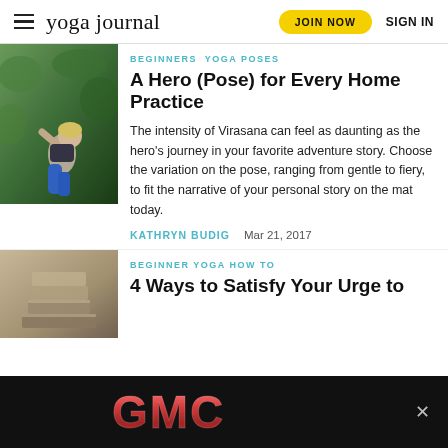yoga journal | JOIN NOW | SIGN IN
BEGINNERS  YOGA POSES
A Hero (Pose) for Every Home Practice
The intensity of Virasana can feel as daunting as the hero's journey in your favorite adventure story. Choose the variation on the pose, ranging from gentle to fiery, to fit the narrative of your personal story on the mat today.
KATHRYN BUDIG    Mar 21, 2017
[Figure (photo): Woman in yoga pose (Virasana/Hero Pose) outdoors with green foliage background, wearing blue leggings]
BEGINNER YOGA HOW TO
4 Ways to Satisfy Your Urge to
[Figure (photo): Stacked yoga blocks or props, brown/tan tones]
[Figure (photo): GMC advertisement banner with red GMC logo on black background]